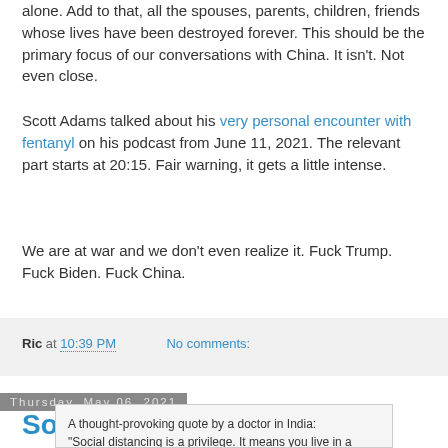alone. Add to that, all the spouses, parents, children, friends whose lives have been destroyed forever. This should be the primary focus of our conversations with China. It isn't. Not even close.
Scott Adams talked about his very personal encounter with fentanyl on his podcast from June 11, 2021. The relevant part starts at 20:15. Fair warning, it gets a little intense.
We are at war and we don't even realize it. Fuck Trump. Fuck Biden. Fuck China.
Ric at 10:39 PM    No comments:
Thursday, May 06, 2021
Something to Consider
A thought-provoking quote by a doctor in India: "Social distancing is a privilege. It means you live in a house large enough to practice it. Hand washing is a privilege too. It means you have access to running water. Hand sanitizers are a